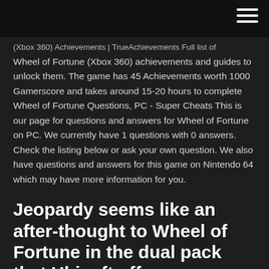(Xbox 360) Achievements | TrueAchievements Full list of
Wheel of Fortune (Xbox 360) achievements and guides to unlock them. The game has 45 Achievements worth 1000 Gamerscore and takes around 15-20 hours to complete Wheel of Fortune Questions, PC - Super Cheats This is our page for questions and answers for Wheel of Fortune on PC. We currently have 1 questions with 0 answers. Check the listing below or ask your own question. We also have questions and answers for this game on Nintendo 64 which may have more information for you.
Jeopardy seems like an after-thought to Wheel of Fortune in the dual pack that Ubisoft offers.